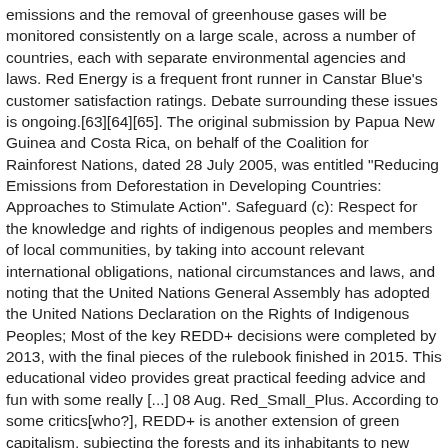emissions and the removal of greenhouse gases will be monitored consistently on a large scale, across a number of countries, each with separate environmental agencies and laws. Red Energy is a frequent front runner in Canstar Blue's customer satisfaction ratings. Debate surrounding these issues is ongoing.[63][64][65]. The original submission by Papua New Guinea and Costa Rica, on behalf of the Coalition for Rainforest Nations, dated 28 July 2005, was entitled "Reducing Emissions from Deforestation in Developing Countries: Approaches to Stimulate Action". Safeguard (c): Respect for the knowledge and rights of indigenous peoples and members of local communities, by taking into account relevant international obligations, national circumstances and laws, and noting that the United Nations General Assembly has adopted the United Nations Declaration on the Rights of Indigenous Peoples; Most of the key REDD+ decisions were completed by 2013, with the final pieces of the rulebook finished in 2015. This educational video provides great practical feeding advice and fun with some really [...] 08 Aug. Red_Small_Plus. According to some critics[who?], REDD+ is another extension of green capitalism, subjecting the forests and its inhabitants to new ways of expropriation and enclosure at the hands of polluting companies and market speculators. COP 20 in December 2014 did not produce any new decisions on REDD+. Based on our long-term research, Reef Energy Plus is an enhanced supplement that provides the complete nutritional components needed by Soft, LPS, SPS, and non-photosynthetic